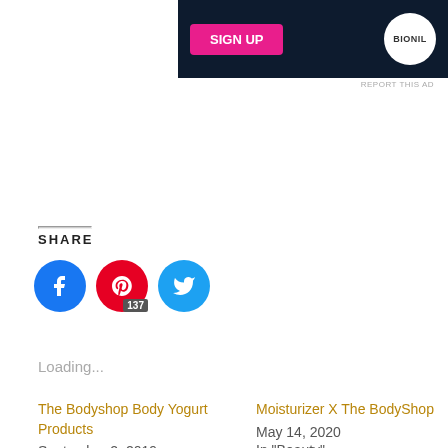[Figure (other): Dark blue advertisement banner with a pink button and a circular white badge showing 'BIONIL']
REPORT THIS AD
SHARE
[Figure (infographic): Social sharing buttons: Facebook (blue circle), Pinterest (red circle with count 137), Twitter (cyan circle)]
Loading...
The Bodyshop Body Yogurt Products
September 2, 2019
In "Beauty"
Moisturizer X The BodyShop
May 14, 2020
In "Beauty"
Vitamin E Overnight Serum-In-